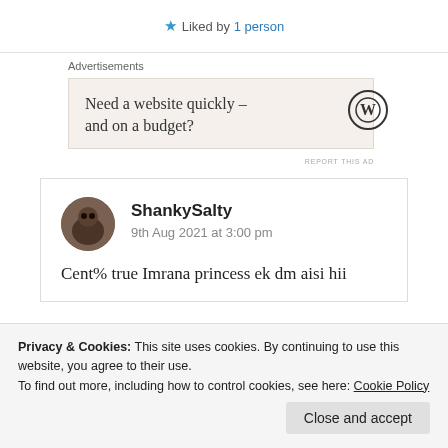★ Liked by 1 person
Advertisements
Need a website quickly – and on a budget?
REPORT THIS AD
ShankySalty
9th Aug 2021 at 3:00 pm
Cent% true Imrana princess ek dm aisi hii
Privacy & Cookies: This site uses cookies. By continuing to use this website, you agree to their use.
To find out more, including how to control cookies, see here: Cookie Policy
Close and accept